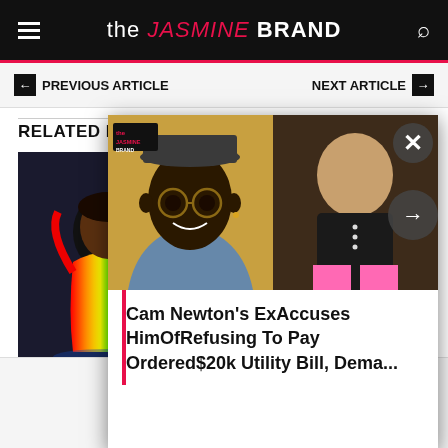the JASMINE BRAND
← PREVIOUS ARTICLE   NEXT ARTICLE →
RELATED POST
[Figure (photo): Colorful performer in rainbow bodysuit on stage]
[Figure (photo): Cam Newton smiling wearing glasses and hat]
[Figure (photo): Woman in black turtleneck with pink pants]
Cam Newton's Ex Accuses Him Of Refusing To Pay Ordered $20k Utility Bill, Dema...
[Figure (logo): Wayfair advertisement banner]
Top Appliance Low Price: